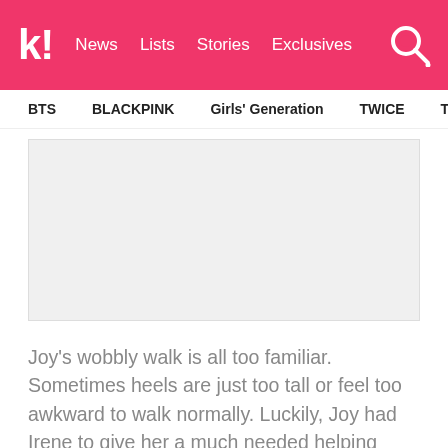k! News  Lists  Stories  Exclusives
BTS  BLACKPINK  Girls' Generation  TWICE  TXT  SEVE
[Figure (other): Gray placeholder advertisement block]
Joy's wobbly walk is all too familiar. Sometimes heels are just too tall or feel too awkward to walk normally. Luckily, Joy had Irene to give her a much needed helping hand. Plus Joy deserves some much needed props for defying the laws of gravity with those towering heels on! I can't say I wouldn't have face-planted if I was in that same situation!